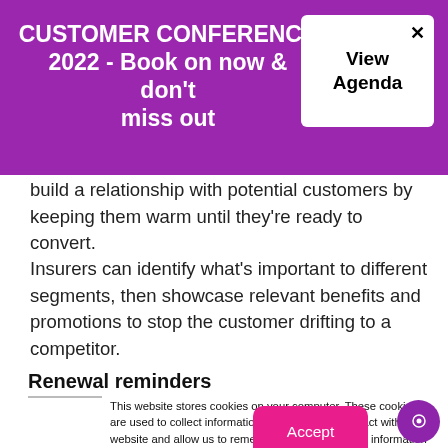CUSTOMER CONFERENCE 2022 - Book on now & don't miss out
build a relationship with potential customers by keeping them warm until they're ready to convert.
Insurers can identify what's important to different segments, then showcase relevant benefits and promotions to stop the customer drifting to a competitor.
Renewal reminders
This website stores cookies on your computer. These cookies are used to collect information about how you interact with our website and allow us to remember you. We use this information in order to improve and customise your browsing experience and for analytics and metrics about our visitors both on this website and other media. To find out more about the cookies we use, see our Privacy Policy.